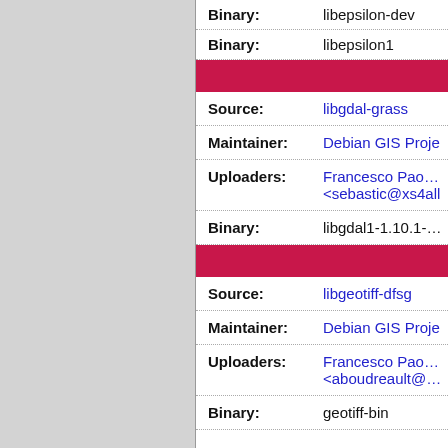| Field | Value |
| --- | --- |
| Binary: | libepsilon-dev |
| Binary: | libepsilon1 |
| Source: | libgdal-grass |
| Maintainer: | Debian GIS Proje... |
| Uploaders: | Francesco Paolo L... <sebastic@xs4all... |
| Binary: | libgdal1-1.10.1-gra... |
| Source: | libgeotiff-dfsg |
| Maintainer: | Debian GIS Proje... |
| Uploaders: | Francesco Paolo L... <aboudreault@ma... |
| Binary: | geotiff-bin |